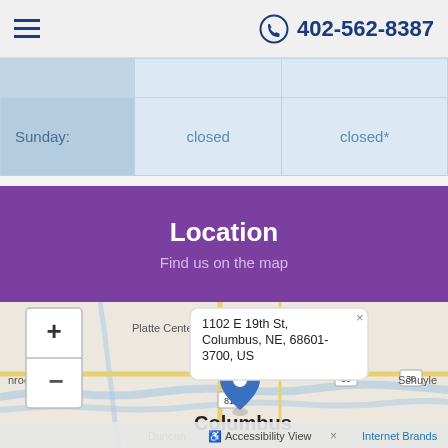402-562-8387
|  |  |  |
| --- | --- | --- |
|  |  |  |
| Sunday: | closed | closed* |
Location
Find us on the map
[Figure (map): Street map showing Columbus, NE area with a location pin at 1102 E 19th St, Columbus, NE, 68601-3700, US. Map shows Platte Center, Monroe, Duncan, Schuyler labels, highways 81 and 30. Zoom controls (+/-) visible. Popup balloon showing the address. Bottom bar shows Accessibility View and Internet Brands.]